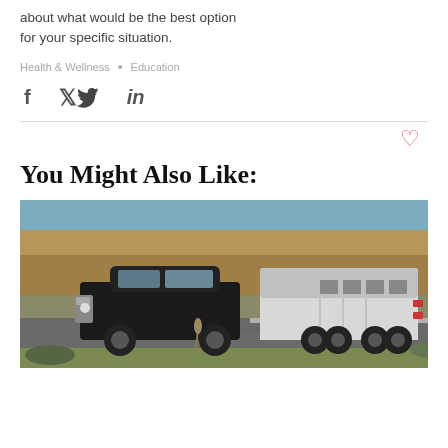about what would be the best option for your specific situation.
Health & Wellness  •  Education
[Figure (infographic): Social share icons: Facebook (f), Twitter (bird), LinkedIn (in)]
[Figure (infographic): Heart (like) icon in red/coral color]
You Might Also Like:
[Figure (photo): A black pickup truck towing a large white horse trailer on a highway, with a rocky hillside and vegetation in the background.]